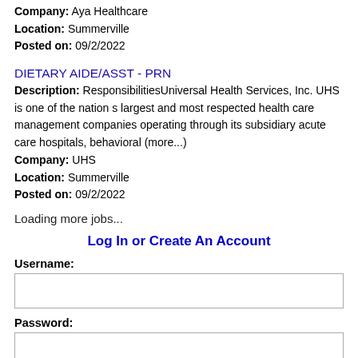Company: Aya Healthcare
Location: Summerville
Posted on: 09/2/2022
DIETARY AIDE/ASST - PRN
Description: ResponsibilitiesUniversal Health Services, Inc. UHS is one of the nation s largest and most respected health care management companies operating through its subsidiary acute care hospitals, behavioral (more...)
Company: UHS
Location: Summerville
Posted on: 09/2/2022
Loading more jobs...
Log In or Create An Account
Username:
Password: